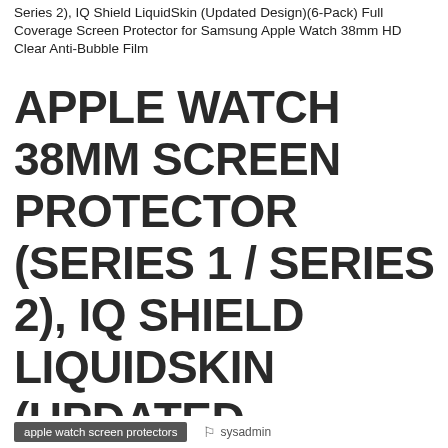Series 2), IQ Shield LiquidSkin (Updated Design)(6-Pack) Full Coverage Screen Protector for Samsung Apple Watch 38mm HD Clear Anti-Bubble Film
APPLE WATCH 38MM SCREEN PROTECTOR (SERIES 1 / SERIES 2), IQ SHIELD LIQUIDSKIN (UPDATED DESIGN)(6-PACK) FULL COVERAGE SCREEN PROTECTOR FOR SAMSUNG APPLE WATCH 38MM HD CLEAR ANTI-BUBBLE FILM
apple watch screen protectors   sysadmin